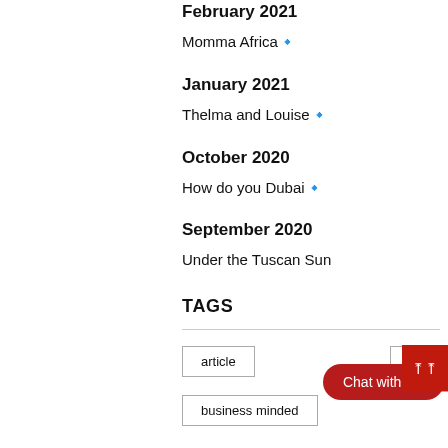February 2021
Momma Africa🔷
January 2021
Thelma and Louise🔷
October 2020
How do you Dubai🔷
September 2020
Under the Tuscan Sun
TAGS
article
black women
business minded